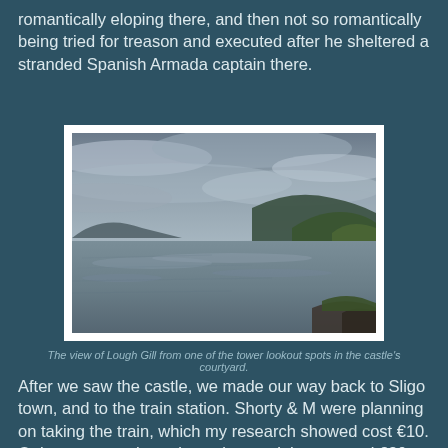romantically eloping there, and then not so romantically being tried for treason and executed after he sheltered a stranded Spanish Armada captain there.
[Figure (photo): A scenic view of Lough Gill, a lake with calm reflective water, dark green hills on the right and distant mountains under a dramatic cloudy sky.]
The view of Lough Gill from one of the tower lookout spots in the castle's courtyard.
After we saw the castle, we made our way back to Sligo town, and to the train station. Shorty & M were planning on taking the train, which my research showed cost €10. Only, we got to the train station, and they wanted €30 per ticket! That's $45! We quickly figured out that the €10 price was an online special, and set out to find a computer.